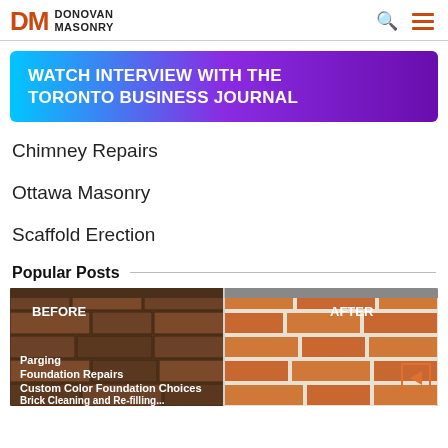DM DONOVAN MASONRY
[Figure (infographic): Watch Interview with the Toronto Business Journal banner with cyan-to-purple gradient background]
Chimney Repairs
Ottawa Masonry
Scaffold Erection
Popular Posts
[Figure (photo): Before and after image of brick masonry repair work, showing old weathered bricks on the left (BEFORE) and new clean bricks on the right (AFTER). Overlaid text lists: Parging, Foundation Repairs, Custom Color Foundation Choices, Brick Cleaning and Re-filling]